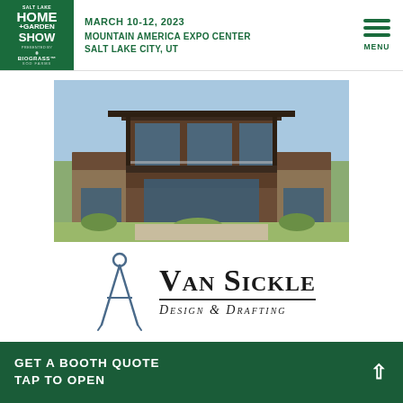Salt Lake Home + Garden Show presented by Biograss Sod Farms — March 10-12, 2023 — Mountain America Expo Center — Salt Lake City, UT
[Figure (photo): Exterior photo of a modern luxury home with large windows, stone and wood facade, multiple levels, and balconies under a clear blue sky.]
[Figure (logo): Van Sickle Design & Drafting logo with compass/drafting divider icon in blue-grey and stylized text in small caps.]
GET A BOOTH QUOTE
TAP TO OPEN